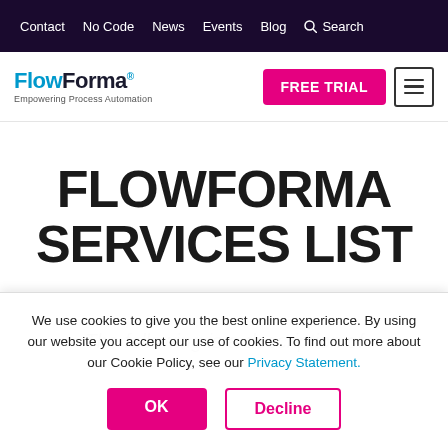Contact  No Code  News  Events  Blog  Search
[Figure (logo): FlowForma logo with tagline 'Empowering Process Automation']
FLOWFORMA SERVICES LIST
The following is a description of
We use cookies to give you the best online experience. By using our website you accept our use of cookies. To find out more about our Cookie Policy, see our Privacy Statement.